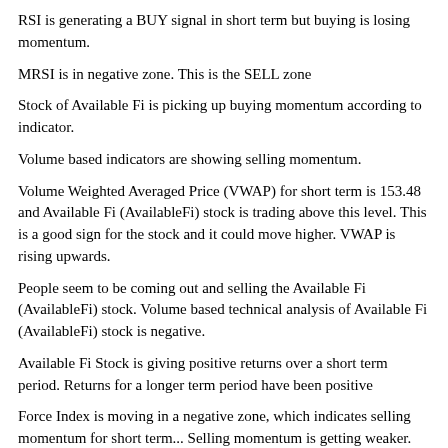RSI is generating a BUY signal in short term but buying is losing momentum.
MRSI is in negative zone. This is the SELL zone
Stock of Available Fi is picking up buying momentum according to indicator.
Volume based indicators are showing selling momentum.
Volume Weighted Averaged Price (VWAP) for short term is 153.48 and Available Fi (AvailableFi) stock is trading above this level. This is a good sign for the stock and it could move higher. VWAP is rising upwards.
People seem to be coming out and selling the Available Fi (AvailableFi) stock. Volume based technical analysis of Available Fi (AvailableFi) stock is negative.
Available Fi Stock is giving positive returns over a short term period. Returns for a longer term period have been positive
Force Index is moving in a negative zone, which indicates selling momentum for short term... Selling momentum is getting weaker.
Click here for Available Fi charts